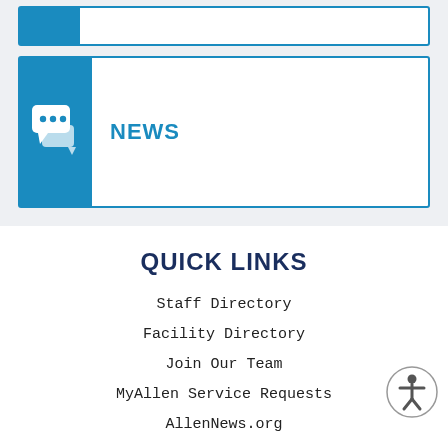[Figure (other): Blue news widget card with chat bubble icon on left and NEWS label on right white area]
QUICK LINKS
Staff Directory
Facility Directory
Join Our Team
MyAllen Service Requests
AllenNews.org
REACH US